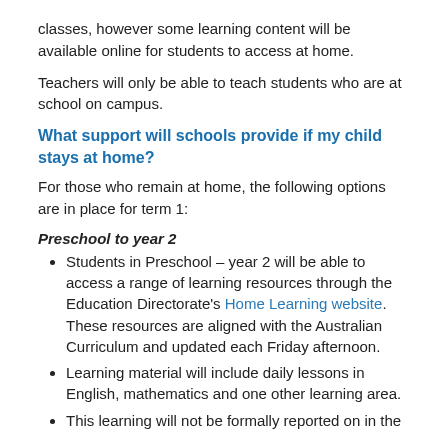classes, however some learning content will be available online for students to access at home.
Teachers will only be able to teach students who are at school on campus.
What support will schools provide if my child stays at home?
For those who remain at home, the following options are in place for term 1:
Preschool to year 2
Students in Preschool – year 2 will be able to access a range of learning resources through the Education Directorate's Home Learning website. These resources are aligned with the Australian Curriculum and updated each Friday afternoon.
Learning material will include daily lessons in English, mathematics and one other learning area.
This learning will not be formally reported on in the